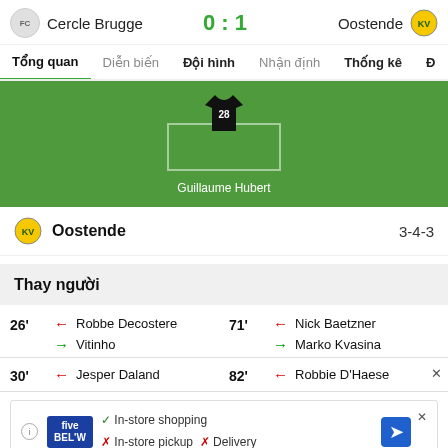Cercle Brugge 0 : 1 Oostende
Tổng quan | Diễn biến | Đội hình | Nhận định | Thống kê | Đ
[Figure (illustration): Football field diagram showing goalkeeper position with jersey number 28 and player name Guillaume Hubert]
Oostende 3-4-3
Thay người
26' ← Robbe Decostere → Vitinho
71' ← Nick Baetzner → Marko Kvasina
30' ← Jesper Daland
82' ← Robbie D'Haese
[Figure (infographic): Advertisement banner for Five Below showing in-store shopping, in-store pickup and delivery information]